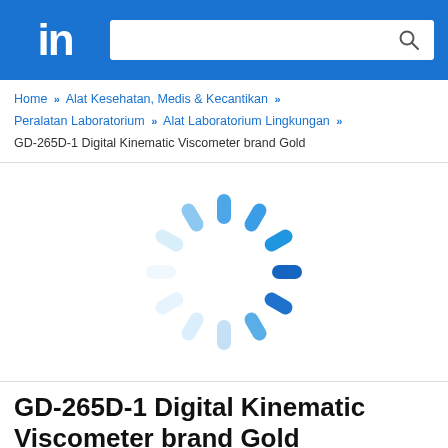in [LinkedIn-style logo] | [search bar with search icon]
Home » Alat Kesehatan, Medis & Kecantikan » Peralatan Laboratorium » Alat Laboratorium Lingkungan » GD-265D-1 Digital Kinematic Viscometer brand Gold
[Figure (other): Loading spinner / activity indicator consisting of rounded pill-shaped segments arranged in a circle. Segments range from light blue (nearly white) at the bottom-left to medium blue at the top and dark blue at the right, indicating a loading animation.]
GD-265D-1 Digital Kinematic Viscometer brand Gold